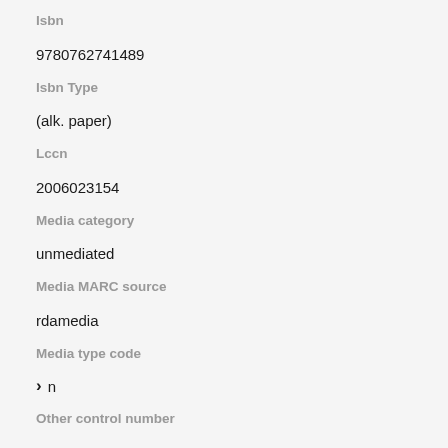Isbn
9780762741489
Isbn Type
(alk. paper)
Lccn
2006023154
Media category
unmediated
Media MARC source
rdamedia
Media type code
▶ n
Other control number
9780762741489
Other physical details
illustrations, maps